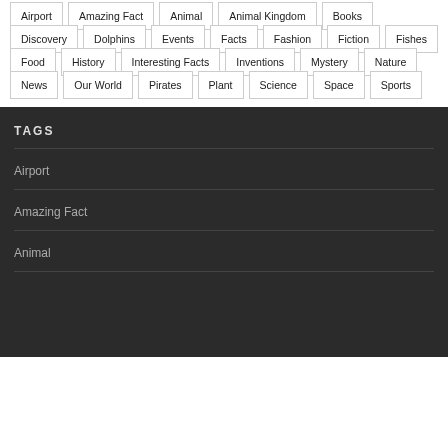Airport
Amazing Fact
Animal
Animal Kingdom
Books
Discovery
Dolphins
Events
Facts
Fashion
Fiction
Fishes
Food
History
Interesting Facts
Inventions
Mystery
Nature
News
Our World
Pirates
Plant
Science
Space
Sports
TAGS
Airport
Amazing Fact
Animal